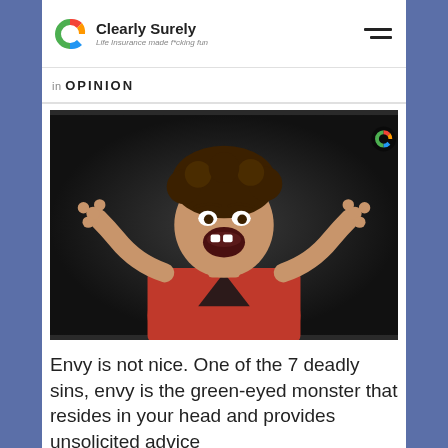Clearly Surely — Life Insurance made f*cking fun
in OPINION
[Figure (photo): A young boy in a red sweater with curly hair, screaming and reaching toward the camera with both hands in a dramatic, angry pose against a dark background.]
Envy is not nice. One of the 7 deadly sins, envy is the green-eyed monster that resides in your head and provides unsolicited advice